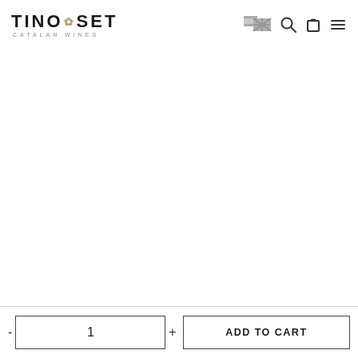[Figure (logo): TINOSET Catalan Wines logo with leaf/vine graphic element]
[Figure (screenshot): Navigation icons: language flags (Spanish/English), search icon, cart icon, hamburger menu icon]
1
ADD TO CART